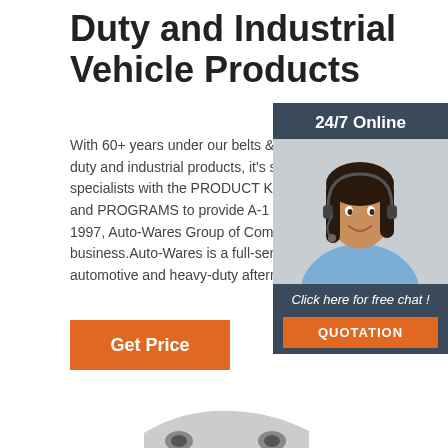Duty and Industrial Vehicle Products
With 60+ years under our belts & over 110 lines of heavy duty and industrial products, it's safe to say we're the specialists with the PRODUCT KNOWEDGE, EXPERTISE, and PROGRAMS to provide A-1 Customer Service. In 1997, Auto-Wares Group of Companies purchased the business.Auto-Wares is a full-service, full-line supplier of automotive and heavy-duty aftermarket parts.
[Figure (photo): Customer service representative woman wearing headset smiling, inside a dark navy chat widget with '24/7 Online' header, 'Click here for free chat!' label, and orange QUOTATION button]
Get Price
[Figure (photo): Partial image of a vehicle visible at bottom of page]